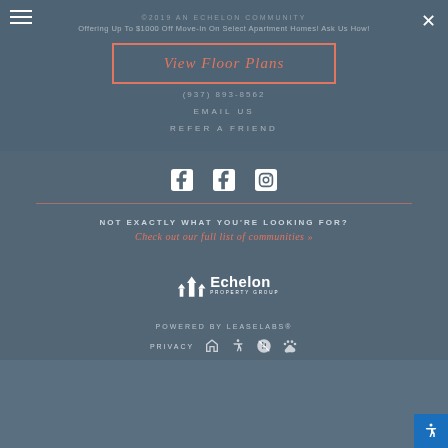©2019 AN ECHELON COMMUNITY
Offering Up To $1000 Off Move-In On Select Apartment Homes! Ask Us How!
View Floor Plans
(937) 893-8562
EMAIL US
REFER A FRIEND
[Figure (infographic): Social media icons: two Facebook icons and one Instagram icon]
NOT EXACTLY WHAT YOU'RE LOOKING FOR?
Check out our full list of communities »
[Figure (logo): Echelon Property Group logo with house/arrow icon]
POWERED BY LEASELABS®
PRIVACY
[Figure (infographic): Footer compliance icons: equal housing, accessibility, no smoking, pets]
[Figure (infographic): Accessibility button (blue)]